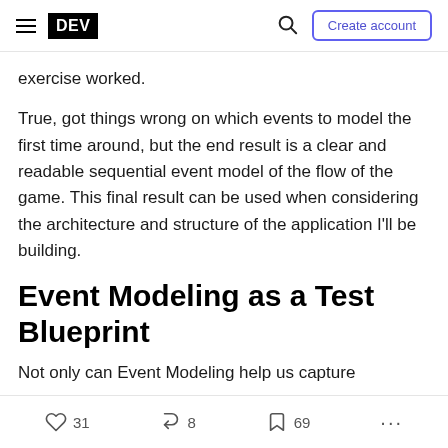DEV | Create account
exercise worked.
True, got things wrong on which events to model the first time around, but the end result is a clear and readable sequential event model of the flow of the game. This final result can be used when considering the architecture and structure of the application I'll be building.
Event Modeling as a Test Blueprint
Not only can Event Modeling help us capture
31  8  69